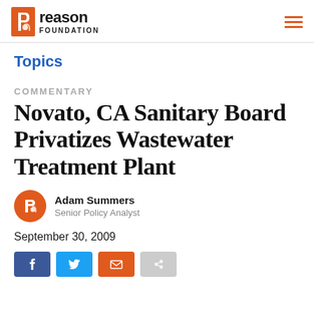Reason Foundation
Topics
COMMENTARY
Novato, CA Sanitary Board Privatizes Wastewater Treatment Plant
Adam Summers
Senior Policy Analyst
September 30, 2009